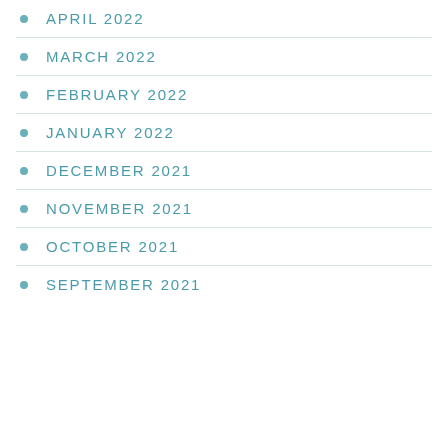APRIL 2022
MARCH 2022
FEBRUARY 2022
JANUARY 2022
DECEMBER 2021
NOVEMBER 2021
OCTOBER 2021
SEPTEMBER 2021